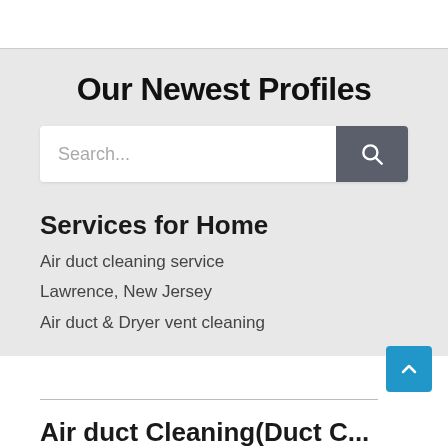Our Newest Profiles
[Figure (screenshot): Search bar with text input field showing placeholder 'Search...' and a dark gray search button with magnifying glass icon]
Services for Home
Air duct cleaning service
Lawrence, New Jersey
Air duct & Dryer vent cleaning